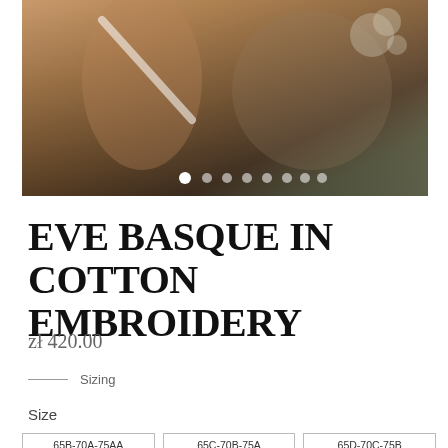[Figure (photo): Fashion/lingerie product photo showing a model wearing a basque, warm brown tones, with floral elements in background. Carousel dots visible at bottom of image.]
EVE BASQUE IN COTTON EMBROIDERY
zł 420.00
Sizing
Size
65B-70A-75AA   65C-70B-75A   65D-70C-75B